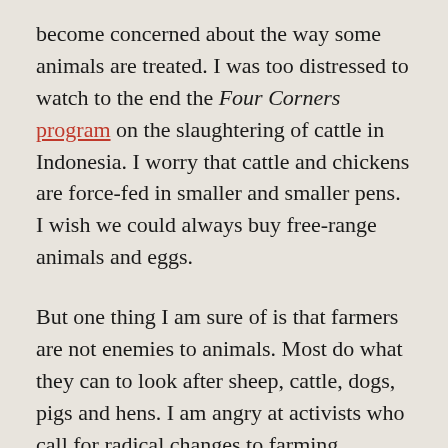become concerned about the way some animals are treated. I was too distressed to watch to the end the Four Corners program on the slaughtering of cattle in Indonesia. I worry that cattle and chickens are force-fed in smaller and smaller pens. I wish we could always buy free-range animals and eggs.
But one thing I am sure of is that farmers are not enemies to animals. Most do what they can to look after sheep, cattle, dogs, pigs and hens. I am angry at activists who call for radical changes to farming practices without investigating how the majority of farmers do things. Often activists ask people to rally around causes that are based on old or